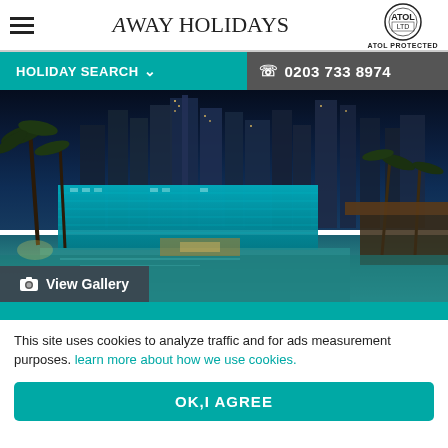Away Holidays — ATOL PROTECTED
HOLIDAY SEARCH ∨   ☎ 0203 733 8974
[Figure (photo): Night-time Dubai cityscape with illuminated skyscrapers, palm trees, a luxury hotel with teal lighting, and a resort pool in the foreground]
View Gallery
This site uses cookies to analyze traffic and for ads measurement purposes. learn more about how we use cookies.
OK,I AGREE